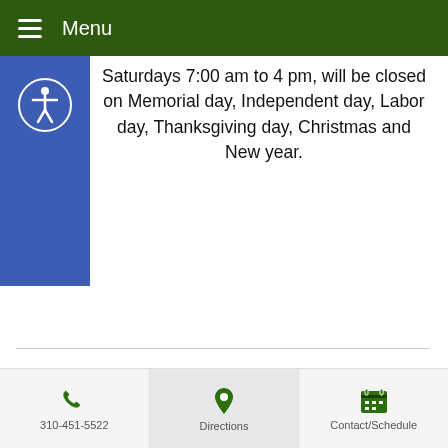Menu
Saturdays 7:00 am to 4 pm, will be closed on Memorial day, Independent day, Labor day, Thanksgiving day, Christmas and New year.
[Figure (logo): Art Of Wellness Acupuncture and Traditional Chinese Medicine logo — dark green and gold yin-yang style circular emblem]
Art Of Wellness Acupuncture and Traditional Chinese
310-451-5522 | Directions | Contact/Schedule